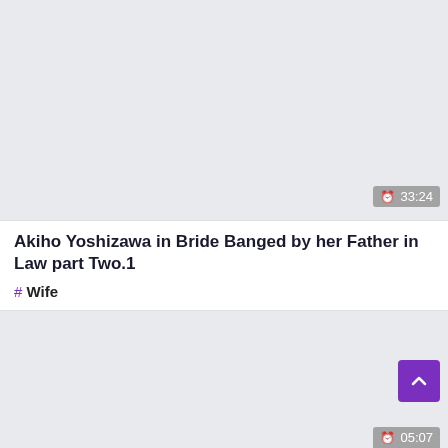[Figure (screenshot): Video thumbnail placeholder area with light gray background]
33:24
Akiho Yoshizawa in Bride Banged by her Father in Law part Two.1
# Wife
[Figure (screenshot): Lower video thumbnail placeholder area with light gray background and scroll-up button]
05:07